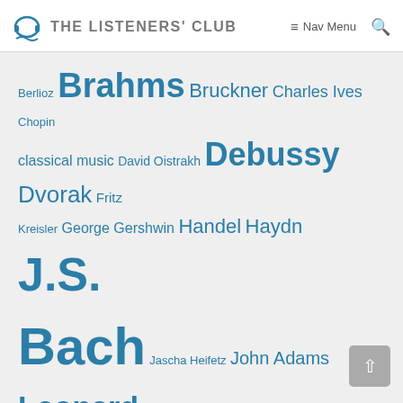THE LISTENERS' CLUB  Nav Menu
[Figure (other): Tag cloud of classical music composers and topics in varying font sizes and blue color: Berlioz, Brahms, Bruckner, Charles Ives, Chopin, classical music, David Oistrakh, Debussy, Dvorak, Fritz Kreisler, George Gershwin, Handel, Haydn, J.S. Bach, Jascha Heifetz, John Adams, Leonard Bernstein, Mahler, Mendelssohn, Michael Torke, Mozart, New York Philharmonic, opera, piano, Prokofiev, Puccini, Rachmaninov, Ravel, Renee Fleming, Richard Strauss, Samuel Barber, Schubert, Schumann, Shostakovich, Sibelius, Stephen Sondheim, Stravinsky, Suzuki, Tchaikovsky]